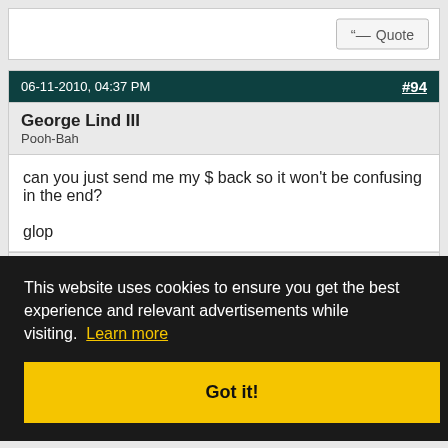Quote (button)
06-11-2010, 04:37 PM  #94
George Lind III
Pooh-Bah
can you just send me my $ back so it won't be confusing in the end?

glop
Quote (button)
#95
This website uses cookies to ensure you get the best experience and relevant advertisements while visiting. Learn more
Got it!